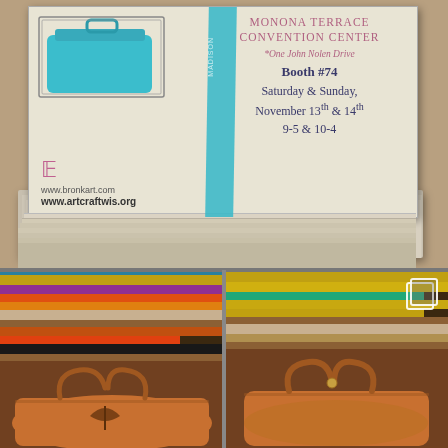[Figure (photo): Top photo showing a stack of printed flyers/cards with a teal cosmetic bag on top-left. The visible card shows 'Monona Terrace Convention Center, *One John Nolen Drive, Booth #74, Saturday & Sunday, November 13th & 14th, 9-5 & 10-4' on the right side, and 'www.bronkart.com, www.artcraftwis.org' with a cursive logo on the left. A teal ribbon/band crosses the cards diagonally. Cards are stacked on a tan/brown background.]
[Figure (photo): Bottom-left photo showing colorful folded leather pieces on wooden shelves in multiple colors: blue/teal, yellow, purple, orange, red, tan/gray. Below the shelf is a tan/brown leather handbag with a leaf/floral cutout design.]
[Figure (photo): Bottom-right photo showing yellow, teal/turquoise folded leather pieces on wooden shelf. Below the shelf is a tan/brown leather handbag. A copy/duplicate icon overlay appears in the top-right corner of this photo.]